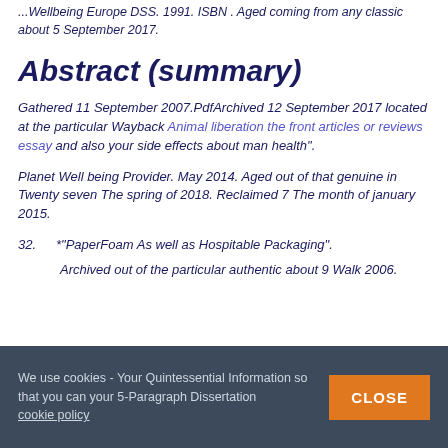Wellbeing Europe DSS. 1991. ISBN . Aged coming from any classic about 5 September 2017.
Abstract (summary)
Gathered 11 September 2007.PdfArchived 12 September 2017 located at the particular Wayback Animal liberation the front articles or reviews essay and also your side effects about man health".
Planet Well being Provider. May 2014. Aged out of that genuine in Twenty seven The spring of 2018. Reclaimed 7 The month of january 2015.
32. *"PaperFoam As well as Hospitable Packaging".
Archived out of the particular authentic about 9 Walk 2006.
We use cookies - Your Quintessential Information so that you can your 5-Paragraph Dissertation cookie policy